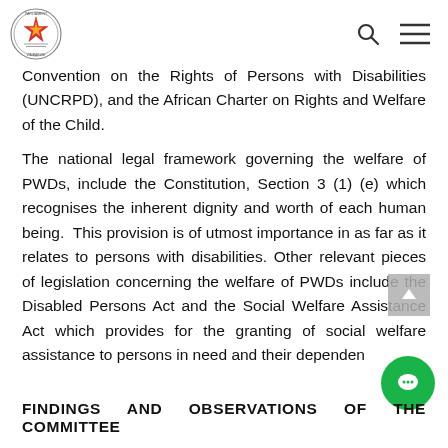Parliament of Zimbabwe logo, search icon, menu icon
Convention on the Rights of Persons with Disabilities (UNCRPD), and the African Charter on Rights and Welfare of the Child.
The national legal framework governing the welfare of PWDs, include the Constitution, Section 3 (1) (e) which recognises the inherent dignity and worth of each human being.  This provision is of utmost importance in as far as it relates to persons with disabilities. Other relevant pieces of legislation concerning the welfare of PWDs include the Disabled Persons Act and the Social Welfare Assistance Act which provides for the granting of social welfare assistance to persons in need and their dependents.
FINDINGS AND OBSERVATIONS OF THE COMMITTEE